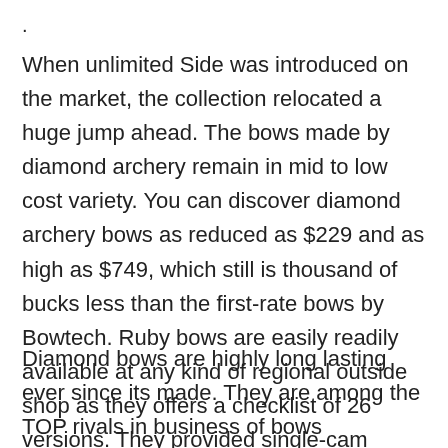.
When unlimited Side was introduced on the market, the collection relocated a huge jump ahead. The bows made by diamond archery remain in mid to low cost variety. You can discover diamond archery bows as reduced as $229 and as high as $749, which still is thousand of bucks less than the first-rate bows by Bowtech. Ruby bows are easily readily available at any kind of regional outside shop as they offers a checklist of 26 versions. They provided single-cam initially yet later on they expanded their webcam system when they combined with the bowtech.
Diamond bows are highly long lasting ever since its made. They are among the TOP rivals in business of bows specifically substances as a result of their extreme longevity, I found really few seekers grumbling about the